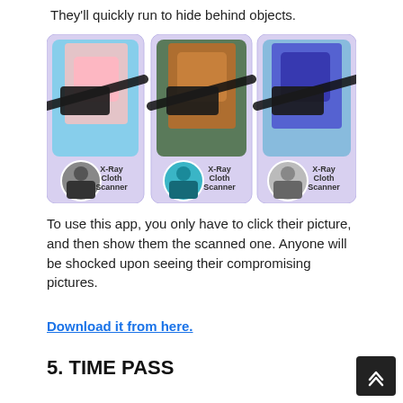They'll quickly run to hide behind objects.
[Figure (screenshot): Three screenshots of an app called 'X-Ray Cloth Scanner', each showing a woman's photo with a smartphone overlay and a smaller circular inset photo below.]
To use this app, you only have to click their picture, and then show them the scanned one. Anyone will be shocked upon seeing their compromising pictures.
Download it from here.
5. TIME PASS